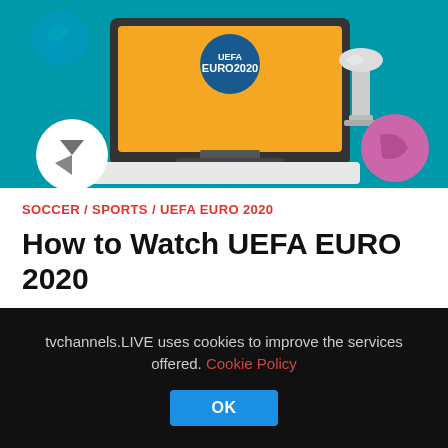[Figure (illustration): Hero image showing a TV screen displaying UEFA EURO 2020 logo on an orange background, with soccer balls and a silver trophy beside it, on a teal/cyan background.]
SOCCER / SPORTS / UEFA EURO 2020
How to Watch UEFA EURO 2020
List of the UEFA EURO 2020 Broadcasters from 6 Continents, 223 Countries
tvchannels.LIVE uses cookies to improve the services offered. Cookie Policy
OK